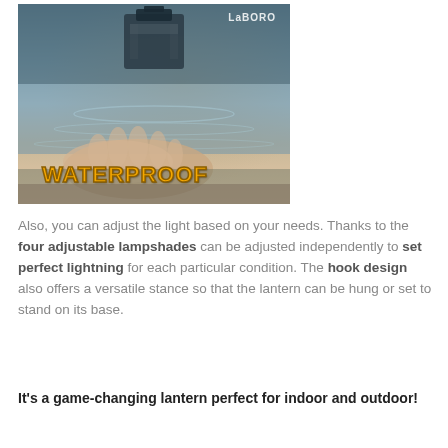[Figure (photo): Photo of a hand near water with a lantern/device being tested, with 'WATERPROOF' text overlay in orange bold letters and a logo in the top right corner.]
Also, you can adjust the light based on your needs. Thanks to the four adjustable lampshades can be adjusted independently to set perfect lightning for each particular condition. The hook design also offers a versatile stance so that the lantern can be hung or set to stand on its base.
It's a game-changing lantern perfect for indoor and outdoor!